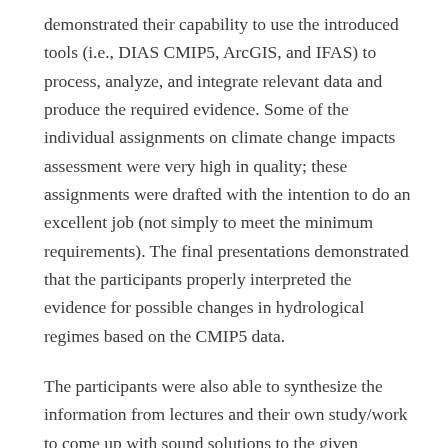demonstrated their capability to use the introduced tools (i.e., DIAS CMIP5, ArcGIS, and IFAS) to process, analyze, and integrate relevant data and produce the required evidence. Some of the individual assignments on climate change impacts assessment were very high in quality; these assignments were drafted with the intention to do an excellent job (not simply to meet the minimum requirements). The final presentations demonstrated that the participants properly interpreted the evidence for possible changes in hydrological regimes based on the CMIP5 data.
The participants were also able to synthesize the information from lectures and their own study/work to come up with sound solutions to the given problems.